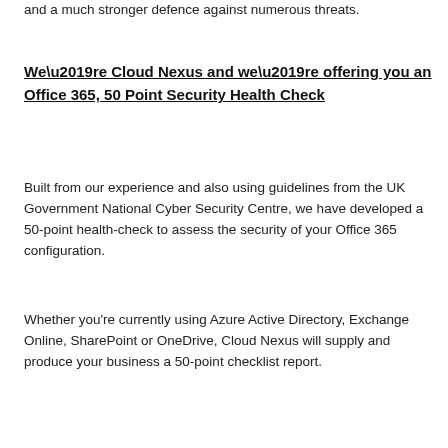and a much stronger defence against numerous threats.
We’re Cloud Nexus and we’re offering you an Office 365, 50 Point Security Health Check
Built from our experience and also using guidelines from the UK Government National Cyber Security Centre, we have developed a 50-point health-check to assess the security of your Office 365 configuration.
Whether you're currently using Azure Active Directory, Exchange Online, SharePoint or OneDrive, Cloud Nexus will supply and produce your business a 50-point checklist report.